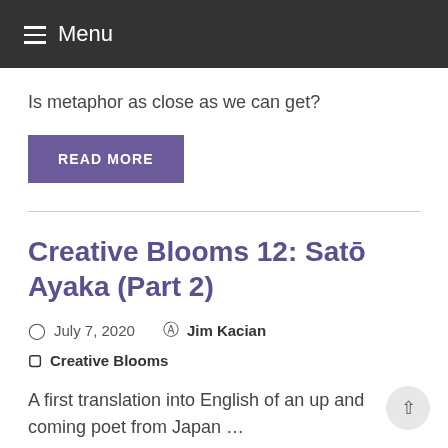≡ Menu
Is metaphor as close as we can get?
READ MORE
Creative Blooms 12: Satō Ayaka (Part 2)
July 7, 2020   Jim Kacian
Creative Blooms
A first translation into English of an up and coming poet from Japan ...